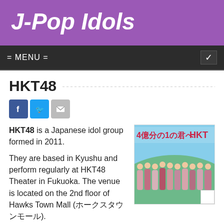J-Pop Idols
= MENU =
HKT48
[Figure (photo): Album or promotional cover for HKT48 showing the group members in colorful outfits on a green hillside with Japanese text '4億分の1の君へ' (HKT48)]
HKT48 is a Japanese idol group formed in 2011.
They are based in Kyushu and perform regularly at HKT48 Theater in Fukuoka. The venue is located on the 2nd floor of Hawks Town Mall (ホークスタウンモール).